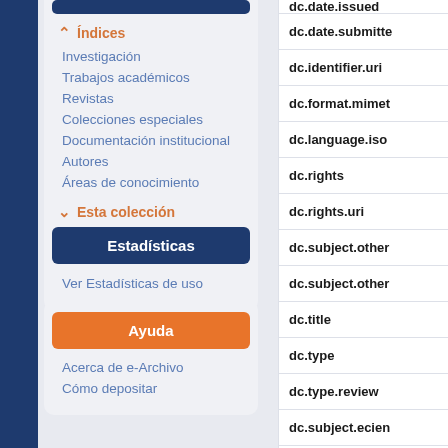Índices
Investigación
Trabajos académicos
Revistas
Colecciones especiales
Documentación institucional
Autores
Áreas de conocimiento
Esta colección
Estadísticas
Ver Estadísticas de uso
Ayuda
Acerca de e-Archivo
Cómo depositar
| dc.date.issued |
| dc.date.submitte |
| dc.identifier.uri |
| dc.format.mimet |
| dc.language.iso |
| dc.rights |
| dc.rights.uri |
| dc.subject.other |
| dc.subject.other |
| dc.title |
| dc.type |
| dc.type.review |
| dc.subject.ecien |
| dc.rights.access |